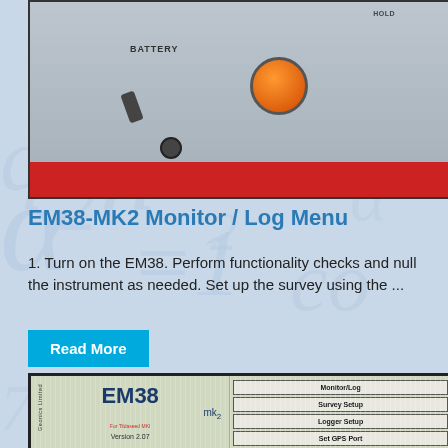[Figure (photo): Close-up photo of EM38 geophysical instrument showing battery area, orange power button, toggle switch, and red body stripe]
EM38-MK2 Monitor / Log Menu
1. Turn on the EM38. Perform functionality checks and null the instrument as needed. Set up the survey using the ...
Read More
[Figure (screenshot): EM38-MK2 device screen showing main menu with options: Monitor/Log, Survey Setup, Logger Setup, Set GPS Port, Display Options. Left side shows EM38 logo, mk2, firmware text, and Version 2.07]